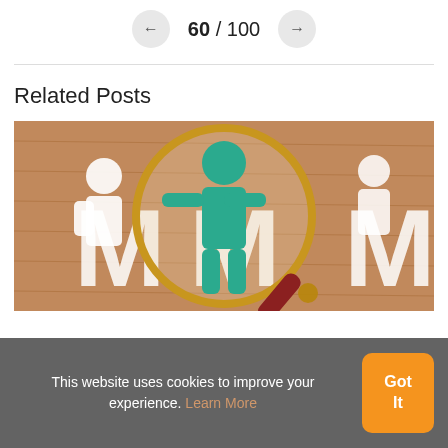60 / 100
Related Posts
[Figure (photo): A magnifying glass focusing on a green paper cut-out human figure standing among white paper cut-out figures and letter M shapes on a wooden surface.]
This website uses cookies to improve your experience. Learn More
Got It